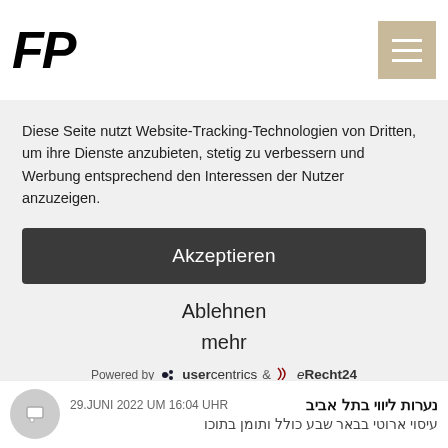FP
Diese Seite nutzt Website-Tracking-Technologien von Dritten, um ihre Dienste anzubieten, stetig zu verbessern und Werbung entsprechend den Interessen der Nutzer anzuzeigen.
Akzeptieren
Ablehnen
mehr
Powered by usercentrics & eRecht24
נערות ליווי בתל אביב   29.JUNI 2022 UM 16:04 UHR
עיסוי ארוטי בבאר שבע כולל ותומן בתוכו